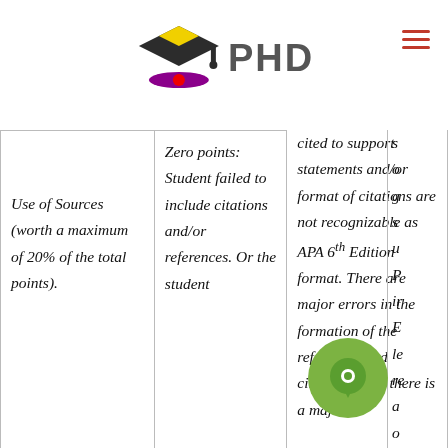PHD
|  | Zero points: Student failed to include citations and/or references. Or the student | cited to support statements and/or format of citations are not recognizable as APA 6th Edition format. There are major errors in the formation of the references and citations. Also there is a major | s... |
| --- | --- | --- | --- |
| Use of Sources (worth a maximum of 20% of the total points). | Zero points: Student failed to include citations and/or references. Or the student | cited to support statements and/or format of citations are not recognizable as APA 6th Edition format. There are major errors in the formation of the references and citations. Also there is a major |  |